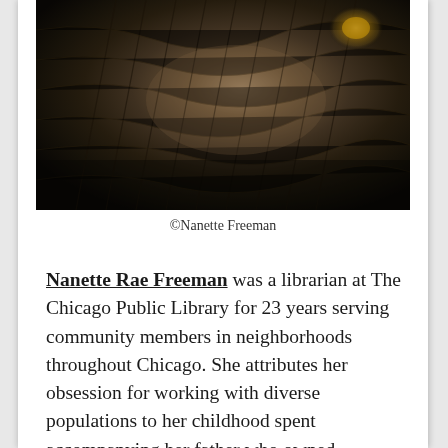[Figure (photo): Close-up photograph of dark metallic or dried organic material with layered, feather-like or scale-like textures, with a gold/brass element visible in the upper right.]
©Nanette Freeman
Nanette Rae Freeman was a librarian at The Chicago Public Library for 23 years serving community members in neighborhoods throughout Chicago. She attributes her obsession for working with diverse populations to her childhood spent accompanying her father who owned, operated and repaired pinball machines, jukeboxes